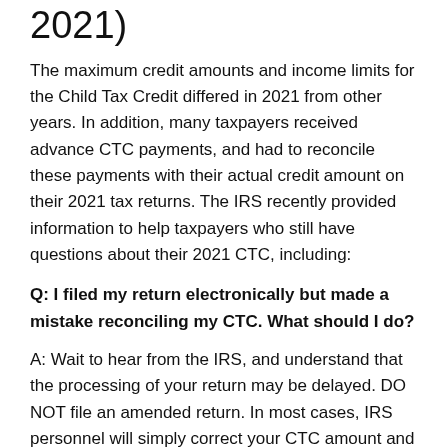2021)
The maximum credit amounts and income limits for the Child Tax Credit differed in 2021 from other years. In addition, many taxpayers received advance CTC payments, and had to reconcile these payments with their actual credit amount on their 2021 tax returns. The IRS recently provided information to help taxpayers who still have questions about their 2021 CTC, including:
Q: I filed my return electronically but made a mistake reconciling my CTC. What should I do?
A: Wait to hear from the IRS, and understand that the processing of your return may be delayed. DO NOT file an amended return. In most cases, IRS personnel will simply correct your CTC amount and adjust your refund amount or amount of tax you owe accordingly. You will receive an official IRS notice by mail that explains the change.